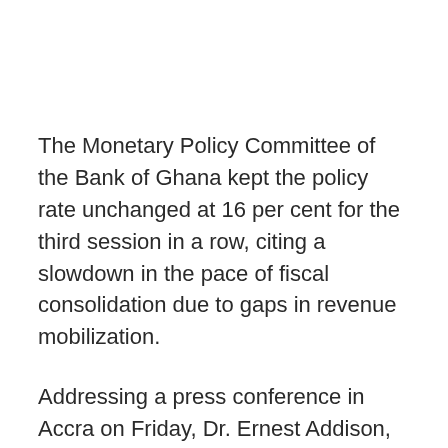The Monetary Policy Committee of the Bank of Ghana kept the policy rate unchanged at 16 per cent for the third session in a row, citing a slowdown in the pace of fiscal consolidation due to gaps in revenue mobilization.
Addressing a press conference in Accra on Friday, Dr. Ernest Addison, the Governor, said the Committee observed that the pace of fiscal consolidation had slowed down, mainly reflecting gaps in revenue mobilization while the pace of